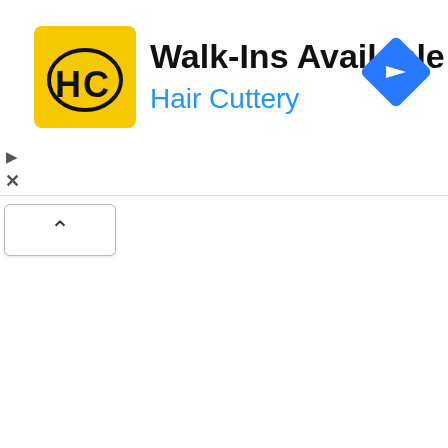[Figure (screenshot): Mobile advertisement banner for Hair Cuttery with yellow HC logo, text 'Walk-Ins Available' in bold black and 'Hair Cuttery' in blue, plus a blue navigation diamond icon top right. Below is a scroll panel with an up-arrow button and partially visible truncated text lines.]